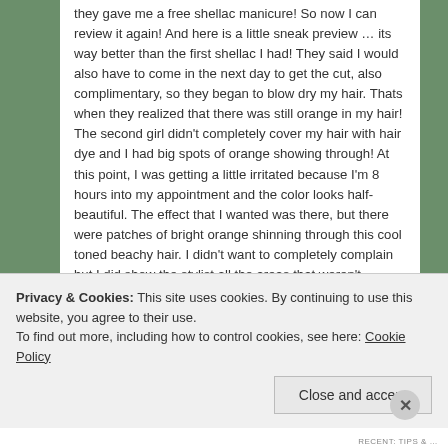they gave me a free shellac manicure! So now I can review it again! And here is a little sneak preview … its way better than the first shellac I had!  They said I would also have to come in the next day to get the cut, also complimentary, so they began to blow dry my hair.  Thats when they realized that there was still orange in my hair! The second girl didn't completely cover my hair with hair dye and I had big spots of orange showing through! At this point, I was getting a little irritated because I'm 8 hours into my appointment and the color looks half-beautiful.  The effect that I wanted was there, but there were patches of bright orange shinning through this cool toned beachy hair.  I didn't want to completely complain but I did show the stylist all the areas that weren't covered in color and she completely agreed
Privacy & Cookies: This site uses cookies. By continuing to use this website, you agree to their use.
To find out more, including how to control cookies, see here: Cookie Policy
Close and accept